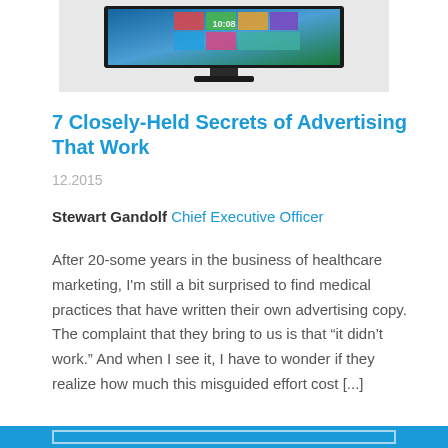[Figure (photo): A black computer monitor displayed on a light gray background, showing a colorful screen interface with time 10:08.]
7 Closely-Held Secrets of Advertising That Work
12.2015
Stewart Gandolf Chief Executive Officer
After 20-some years in the business of healthcare marketing, I'm still a bit surprised to find medical practices that have written their own advertising copy. The complaint that they bring to us is that “it didn’t work.” And when I see it, I have to wonder if they realize how much this misguided effort cost [...]